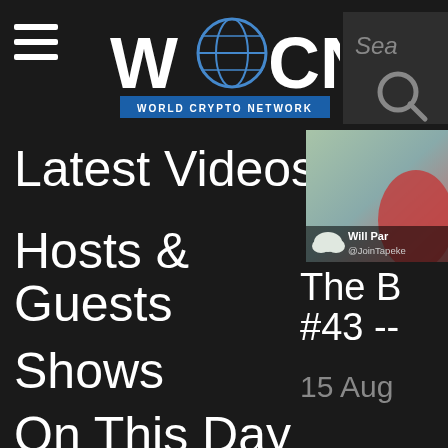[Figure (logo): World Crypto Network (WCN) logo with globe icon and blue subtitle bar]
[Figure (screenshot): Search box with 'Sea' placeholder text and magnifying glass icon]
Latest Videos
Hosts & Guests
Shows
On This Day
[Figure (photo): Video thumbnail showing Will Par @JoinTapeke]
The B #43 --
15 Aug